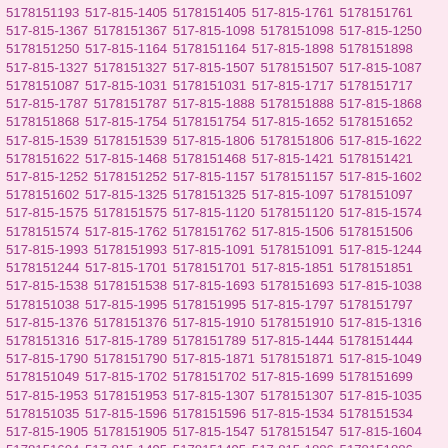5178151193 517-815-1405 5178151405 517-815-1761 5178151761 517-815-1367 5178151367 517-815-1098 5178151098 517-815-1250 5178151250 517-815-1164 5178151164 517-815-1898 5178151898 517-815-1327 5178151327 517-815-1507 5178151507 517-815-1087 5178151087 517-815-1031 5178151031 517-815-1717 5178151717 517-815-1787 5178151787 517-815-1888 5178151888 517-815-1868 5178151868 517-815-1754 5178151754 517-815-1652 5178151652 517-815-1539 5178151539 517-815-1806 5178151806 517-815-1622 5178151622 517-815-1468 5178151468 517-815-1421 5178151421 517-815-1252 5178151252 517-815-1157 5178151157 517-815-1602 5178151602 517-815-1325 5178151325 517-815-1097 5178151097 517-815-1575 5178151575 517-815-1120 5178151120 517-815-1574 5178151574 517-815-1762 5178151762 517-815-1506 5178151506 517-815-1993 5178151993 517-815-1091 5178151091 517-815-1244 5178151244 517-815-1701 5178151701 517-815-1851 5178151851 517-815-1538 5178151538 517-815-1693 5178151693 517-815-1038 5178151038 517-815-1995 5178151995 517-815-1797 5178151797 517-815-1376 5178151376 517-815-1910 5178151910 517-815-1316 5178151316 517-815-1789 5178151789 517-815-1444 5178151444 517-815-1790 5178151790 517-815-1871 5178151871 517-815-1049 5178151049 517-815-1702 5178151702 517-815-1699 5178151699 517-815-1953 5178151953 517-815-1307 5178151307 517-815-1035 5178151035 517-815-1596 5178151596 517-815-1534 5178151534 517-815-1905 5178151905 517-815-1547 5178151547 517-815-1604 5178151604 517-815-1495 5178151495 517-815-1886 5178151886 517-815-1283 5178151283 517-815-1962 5178151962 517-815-1162